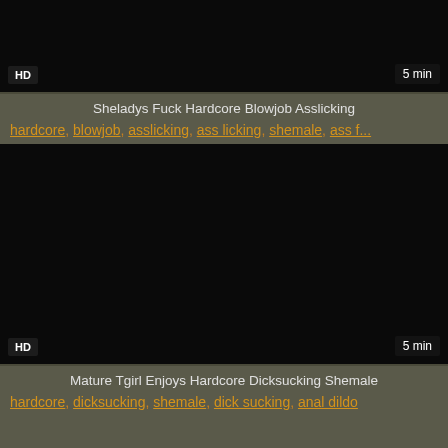[Figure (screenshot): Dark/black video thumbnail with HD badge bottom-left and '5 min' badge bottom-right]
Sheladys Fuck Hardcore Blowjob Asslicking
hardcore, blowjob, asslicking, ass licking, shemale, ass f...
[Figure (screenshot): Dark/black video thumbnail with HD badge bottom-left and '5 min' badge bottom-right]
Mature Tgirl Enjoys Hardcore Dicksucking Shemale
hardcore, dicksucking, shemale, dick sucking, anal dildo